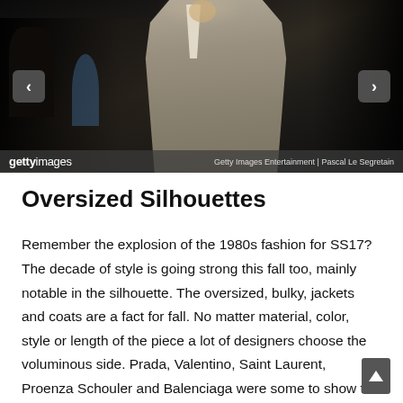[Figure (photo): Fashion runway photo of a male model wearing an oversized houndstooth/checked blazer jacket. Dark background with other figures visible. Getty Images watermark and navigation arrows visible.]
Getty Images Entertainment | Pascal Le Segretain
Oversized Silhouettes
Remember the explosion of the 1980s fashion for SS17? The decade of style is going strong this fall too, mainly notable in the silhouette. The oversized, bulky, jackets and coats are a fact for fall. No matter material, color, style or length of the piece a lot of designers choose the voluminous side. Prada, Valentino, Saint Laurent, Proenza Schouler and Balenciaga were some to show the oversized silhouette. A lot of shearling jackets, boxy coats and more are also among the...